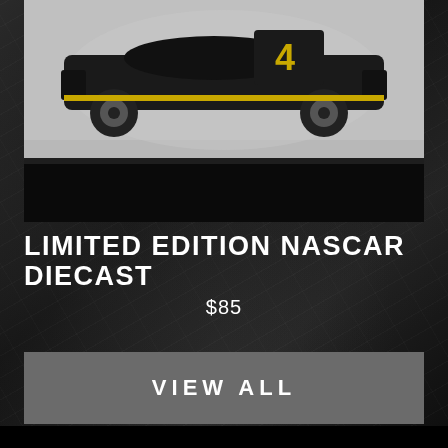[Figure (photo): Limited edition NASCAR diecast model car displayed on a black shelf/pedestal, photographed against a light gray background. The car is dark colored with number and sponsor decals visible.]
LIMITED EDITION NASCAR DIECAST
$85
VIEW ALL